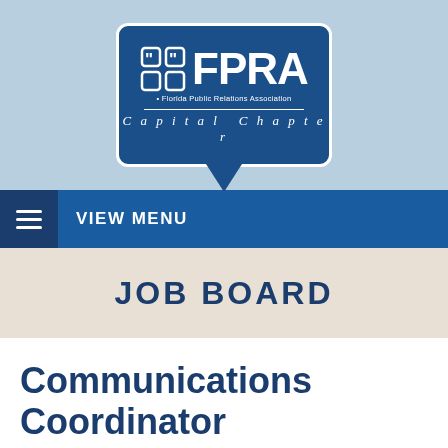[Figure (logo): FPRA Florida Public Relations Association Capital Chapter logo inside a speech bubble on light blue background]
VIEW MENU
JOB BOARD
Communications Coordinator